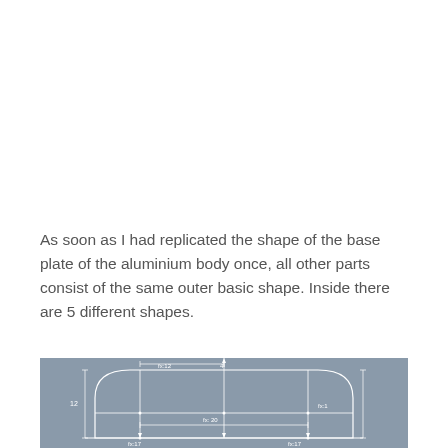As soon as I had replicated the shape of the base plate of the aluminium body once, all other parts consist of the same outer basic shape. Inside there are 5 different shapes.
[Figure (engineering-diagram): Technical CAD-style blueprint drawing of the aluminium body base plate shape on a blue-grey background, showing a rectangular shape with rounded top corners and internal dimension lines with measurements including 12, fx:12, 4, fx:1, fx:20, fx:17, and other dimension annotations.]